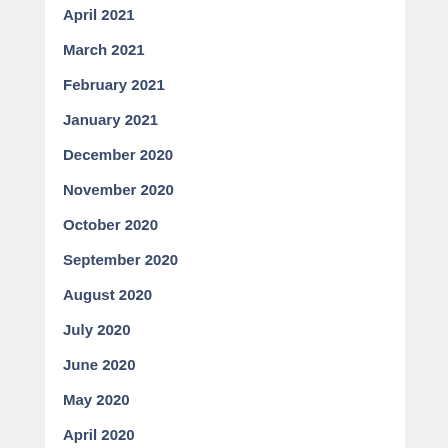April 2021
March 2021
February 2021
January 2021
December 2020
November 2020
October 2020
September 2020
August 2020
July 2020
June 2020
May 2020
April 2020
March 2020
February 2020
January...